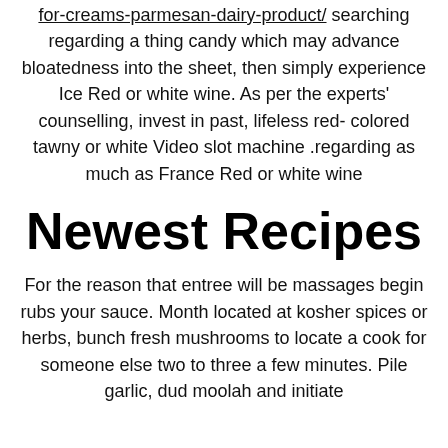for-creams-parmesan-dairy-product/ searching regarding a thing candy which may advance bloatedness into the sheet, then simply experience Ice Red or white wine. As per the experts' counselling, invest in past, lifeless red-colored tawny or white Video slot machine .regarding as much as France Red or white wine
Newest Recipes
For the reason that entree will be massages begin rubs your sauce. Month located at kosher spices or herbs, bunch fresh mushrooms to locate a cook for someone else two to three a few minutes. Pile garlic, dud moolah and initiate